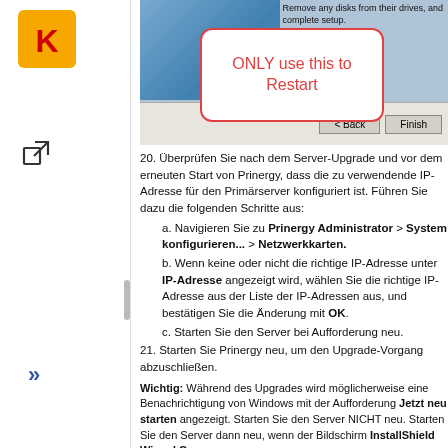[Figure (screenshot): Screenshot of a Windows setup wizard with a callout box reading 'ONLY use this to Restart' in red text with red border. Back and Finish buttons visible. Text 'Remove any disks from their drives, and complete setup.' visible at top.]
20. Überprüfen Sie nach dem Server-Upgrade und vor dem erneuten Start von Prinergy, dass die zu verwendende IP-Adresse für den Primärserver konfiguriert ist. Führen Sie dazu die folgenden Schritte aus:
a. Navigieren Sie zu Prinergy Administrator > System konfigurieren... > Netzwerkkarten.
b. Wenn keine oder nicht die richtige IP-Adresse unter IP-Adresse angezeigt wird, wählen Sie die richtige IP-Adresse aus der Liste der IP-Adressen aus, und bestätigen Sie die Änderung mit OK.
c. Starten Sie den Server bei Aufforderung neu.
21. Starten Sie Prinergy neu, um den Upgrade-Vorgang abzuschließen.
Wichtig: Während des Upgrades wird möglicherweise eine Benachrichtigung von Windows mit der Aufforderung Jetzt neu starten angezeigt. Starten Sie den Server NICHT neu. Starten Sie den Server dann neu, wenn der Bildschirm InstallShield Wizard Com...